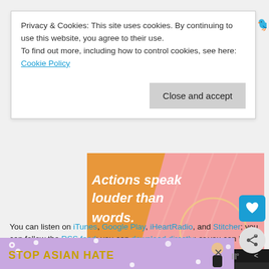Privacy & Cookies: This site uses cookies. By continuing to use this website, you agree to their use. To find out more, including how to control cookies, see here: Cookie Policy
Close and accept
[Figure (illustration): Advertisement banner with orange/yellow background and pink accent. Text reads 'Actions speak louder than words.' in white bold italic font.]
You can listen on iTunes, Google Play, iHeartRadio, and Stitcher; you can follow the RSS feed; you can download directly; or you can listen right here!
[Figure (screenshot): Video player interface with dark background, red triangle/beam graphic, and control bar icons including info, playlist, and share buttons.]
[Figure (illustration): Advertisement banner with purple/lavender background and white flowers. Yellow text reads 'STOP ASIAN HATE' with an illustrated figure.]